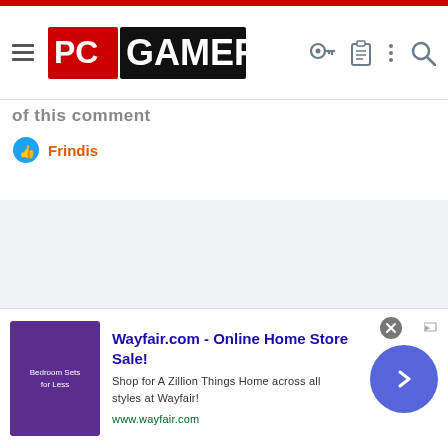PC Gamer navigation header with hamburger menu, PC GAMER logo, key icon, clipboard icon, more icon, search icon
of this comment
Frindis
[Figure (screenshot): Gray empty content area - advertisement placeholder or loading state]
Wayfair.com - Online Home Store Sale! Shop for A Zillion Things Home across all styles at Wayfair! www.wayfair.com